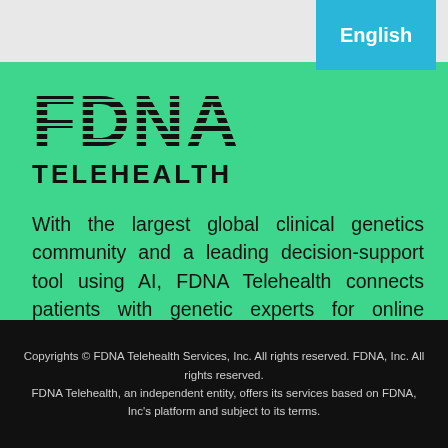English
[Figure (logo): FDNA Telehealth logo with striped FDNA lettering and bold TELEHEALTH text below]
With the largest global clinical genetics community and a leading decision-support tool using AI, FDNA Telehealth connects patients with genetic experts for online genetic counseling, genetic analysis, and genetic testing.
[Figure (infographic): Row of four social media icons: Twitter, Instagram, Facebook, LinkedIn]
Copyrights © FDNA Telehealth Services, Inc. All rights reserved. FDNA, Inc. All rights reserved. FDNA Telehealth, an independent entity, offers its services based on FDNA, Inc's platform and subject to its terms.